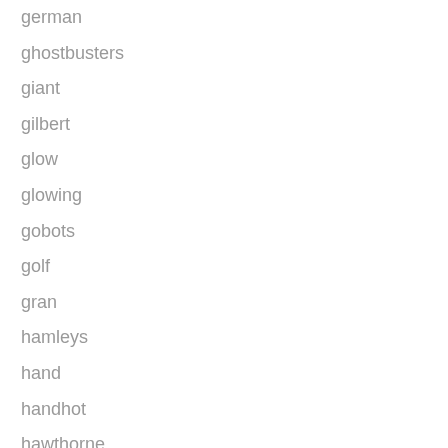german
ghostbusters
giant
gilbert
glow
glowing
gobots
golf
gran
hamleys
hand
handhot
hawthorne
high
hodges
home
hotwheels
hotwire
hummer